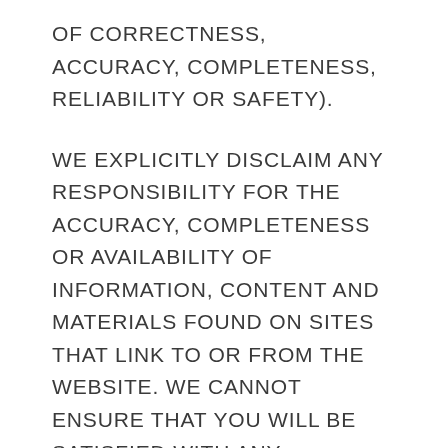OF CORRECTNESS, ACCURACY, COMPLETENESS, RELIABILITY OR SAFETY).
WE EXPLICITLY DISCLAIM ANY RESPONSIBILITY FOR THE ACCURACY, COMPLETENESS OR AVAILABILITY OF INFORMATION, CONTENT AND MATERIALS FOUND ON SITES THAT LINK TO OR FROM THE WEBSITE. WE CANNOT ENSURE THAT YOU WILL BE SATISFIED WITH ANY PRODUCT OR SERVICE THAT YOU PURCHASE